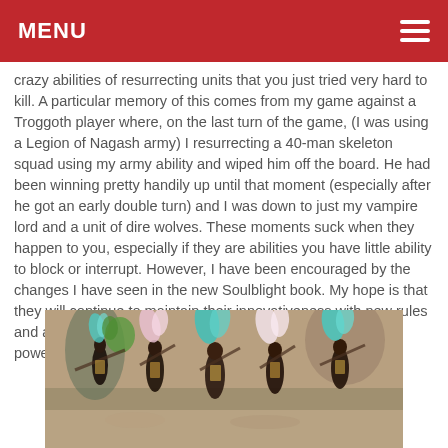MENU
crazy abilities of resurrecting units that you just tried very hard to kill. A particular memory of this comes from my game against a Troggoth player where, on the last turn of the game, (I was using a Legion of Nagash army) I resurrecting a 40-man skeleton squad using my army ability and wiped him off the board. He had been winning pretty handily up until that moment (especially after he got an early double turn) and I was down to just my vampire lord and a unit of dire wolves. These moments suck when they happen to you, especially if they are abilities you have little ability to block or interrupt. However, I have been encouraged by the changes I have seen in the new Soulblight book. My hope is that they will continue to maintain their innovativeness with new rules and abilities but tone things down a bit on the wacky or over-powered abilities.
[Figure (photo): A group of painted Warhammer fantasy miniatures, featuring dynamic figures with colorful teal and pink plumes/hair ornaments, dark clothing and armor, posed in action stances on a sandy/rocky basing.]